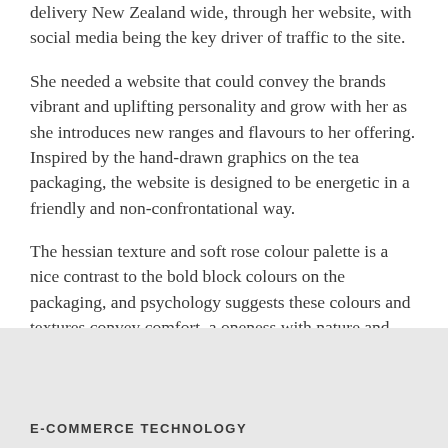Angelina's business plan involves selling tea for delivery New Zealand wide, through her website, with social media being the key driver of traffic to the site.
She needed a website that could convey the brands vibrant and uplifting personality and grow with her as she introduces new ranges and flavours to her offering. Inspired by the hand-drawn graphics on the tea packaging, the website is designed to be energetic in a friendly and non-confrontational way.
The hessian texture and soft rose colour palette is a nice contrast to the bold block colours on the packaging, and psychology suggests these colours and textures convey comfort, a oneness with nature and relaxation – all feelings tea-drinkers should have while drinking their brew.
E-COMMERCE TECHNOLOGY